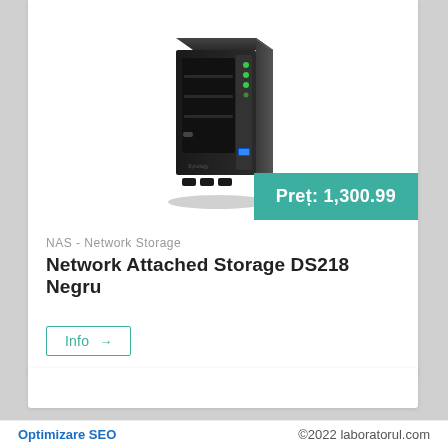[Figure (photo): Synology DS218 NAS Network Attached Storage device in black, shown at a slight angle with green LED indicators and blue USB port visible on the front]
Preț: 1,300.99
NAS - Network Storage
Network Attached Storage DS218 Negru
Info →
Optimizare SEO | ©2022 laboratorul.com